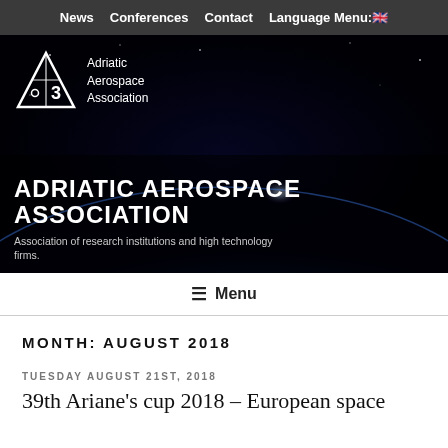News   Conferences   Contact   Language Menu: 🇬🇧
[Figure (logo): Adriatic Aerospace Association hero banner with logo, organization name in large white bold text, and subtitle 'Association of research institutions and high technology firms.' on a dark space/earth background]
☰ Menu
MONTH: AUGUST 2018
TUESDAY AUGUST 21ST, 2018
39th Ariane's cup 2018 – European space